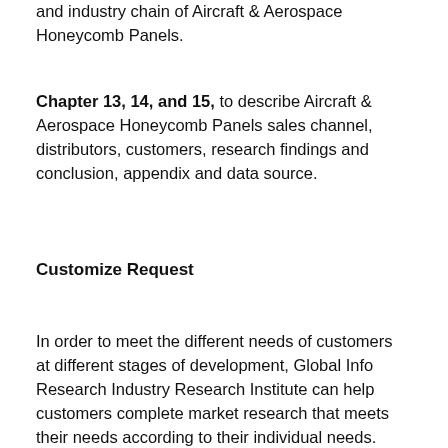and industry chain of Aircraft & Aerospace Honeycomb Panels.
Chapter 13, 14, and 15, to describe Aircraft & Aerospace Honeycomb Panels sales channel, distributors, customers, research findings and conclusion, appendix and data source.
Customize Request
In order to meet the different needs of customers at different stages of development, Global Info Research Industry Research Institute can help customers complete market research that meets their needs according to their individual needs. Clients can either make adjustments to the basis of the original report or